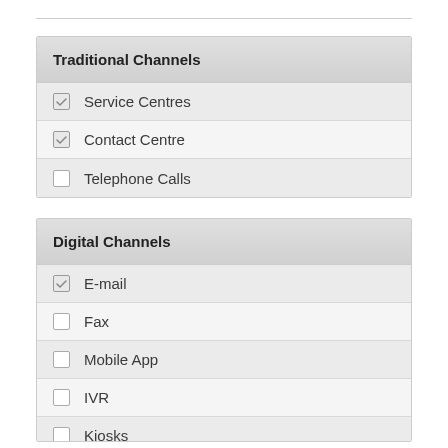Traditional Channels
Service Centres
Contact Centre
Telephone Calls
Digital Channels
E-mail
Fax
Mobile App
IVR
Kiosks
Website